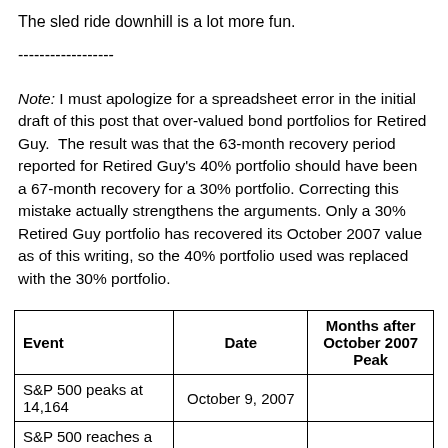The sled ride downhill is a lot more fun.
------------------
Note: I must apologize for a spreadsheet error in the initial draft of this post that over-valued bond portfolios for Retired Guy. The result was that the 63-month recovery period reported for Retired Guy's 40% portfolio should have been a 67-month recovery for a 30% portfolio. Correcting this mistake actually strengthens the arguments. Only a 30% Retired Guy portfolio has recovered its October 2007 value as of this writing, so the 40% portfolio used was replaced with the 30% portfolio.
| Event | Date | Months after October 2007 Peak |
| --- | --- | --- |
| S&P 500 peaks at 14,164 | October 9, 2007 |  |
| S&P 500 reaches a... |  |  |